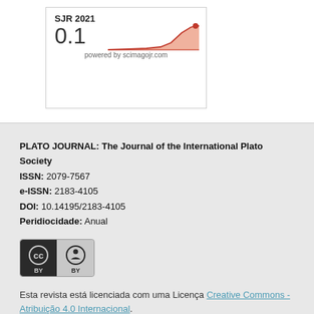[Figure (continuous-plot): SJR 2021 score widget showing value 0.1 with an orange area chart trending upward, labeled 'powered by scimagojr.com']
PLATO JOURNAL: The Journal of the International Plato Society
ISSN: 2079-7567
e-ISSN: 2183-4105
DOI: 10.14195/2183-4105
Peridiocidade: Anual
[Figure (logo): Creative Commons BY license badge — circular CC and person icons on dark background with 'BY' text below]
Esta revista está licenciada com uma Licença Creative Commons - Atribuição 4.0 Internacional.